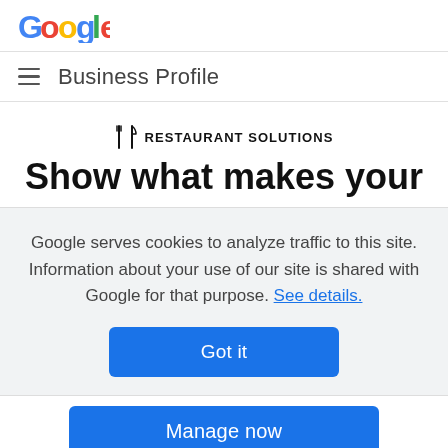[Figure (logo): Google logo in multicolor (blue G, red o, yellow o, blue g, green l, red e)]
Business Profile
RESTAURANT SOLUTIONS
Show what makes your
Google serves cookies to analyze traffic to this site. Information about your use of our site is shared with Google for that purpose. See details.
Got it
Manage now